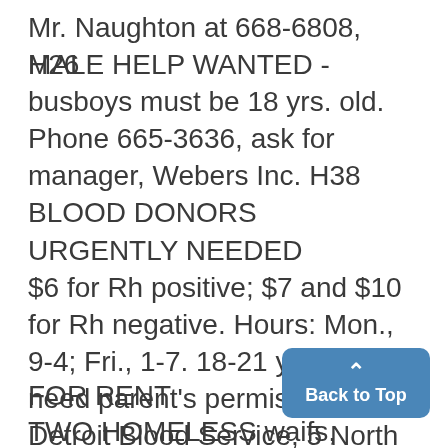Mr. Naughton at 668-6808, H26
MALE HELP WANTED - busboys must be 18 yrs. old. Phone 665-3636, ask for manager, Webers Inc. H38
BLOOD DONORS
URGENTLY NEEDED
$6 for Rh positive; $7 and $10 for Rh negative. Hours: Mon., 9-4; Fri., 1-7. 18-21 yrs. old need parent's permis-alion. Detroit Blood Service, 5 North Hamilton, Ypsilanti, Mich. H29
FOR RENT
TWO HOMELESS waifs, female desperately in need of humble abode